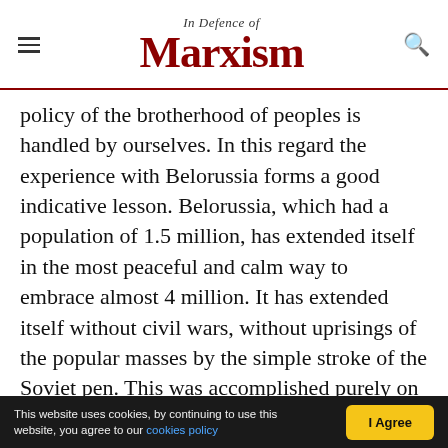In Defence of Marxism
policy of the brotherhood of peoples is handled by ourselves. In this regard the experience with Belorussia forms a good indicative lesson. Belorussia, which had a population of 1.5 million, has extended itself in the most peaceful and calm way to embrace almost 4 million. It has extended itself without civil wars, without uprisings of the popular masses by the simple stroke of the Soviet pen. This was accomplished purely on the basis of statistical data, by means of examining the balance of nationalities. For us this is merely a technical question – the national groupings of our Soviet
This website uses cookies, by continuing to use this website, you agree to our cookies policy  |  I Agree